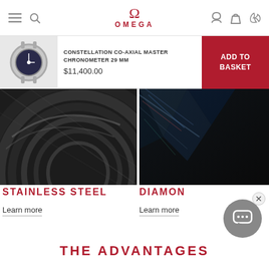OMEGA navigation bar with menu, search, phone, account, and basket icons, and the OMEGA logo in the center
CONSTELLATION CO-AXIAL MASTER CHRONOMETER 29 MM
$11,400.00
ADD TO BASKET
[Figure (photo): Close-up macro photograph of brushed stainless steel surface, dark tones with circular grinding marks]
STAINLESS STEEL
Learn more
[Figure (photo): Close-up macro photograph of diamond or crystal with light refraction effects, dark background]
DIAMON
Learn more
THE ADVANTAGES